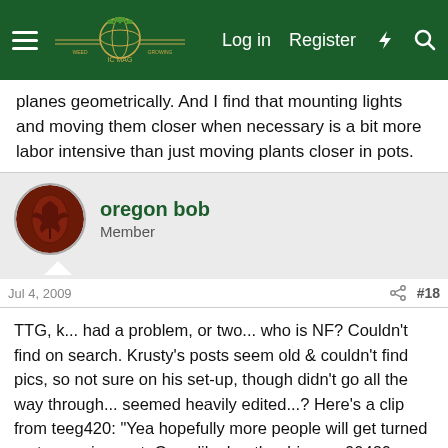Navigation bar with hamburger menu, logo, Log in, Register, and search icons
planes geometrically. And I find that mounting lights and moving them closer when necessary is a bit more labor intensive than just moving plants closer in pots.
oregon bob
Member
Jul 4, 2009
#18
TTG, k... had a problem, or two... who is NF? Couldn't find on search. Krusty's posts seem old & couldn't find pics, so not sure on his set-up, though didn't go all the way through... seemed heavily edited...? Here's a clip from teeg420: "Yea hopefully more people will get turned on to growing vert. Guys like heath robinson, 00420, green bastard, prawn connerey, green light, sunny dog, northern farmer, and bongholio have proven that you yield more with vert. It just amazes me the yields these guys are getting." Of all the names listed, 00420 is the only member I could find through search. Other names popped up on word